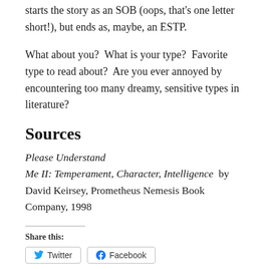starts the story as an SOB (oops, that's one letter short!), but ends as, maybe, an ESTP.
What about you?  What is your type?  Favorite type to read about?  Are you ever annoyed by encountering too many dreamy, sensitive types in literature?
Sources
Please Understand Me II: Temperament, Character, Intelligence  by David Keirsey, Prometheus Nemesis Book Company, 1998
Share this:
Twitter  Facebook